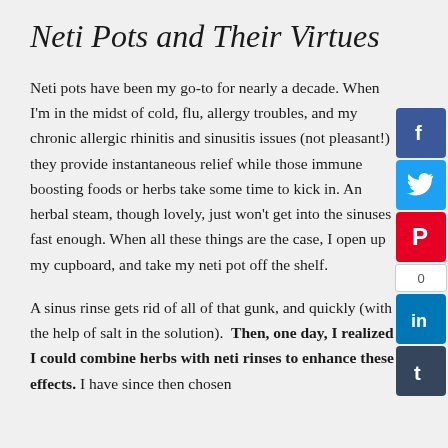Neti Pots and Their Virtues
Neti pots have been my go-to for nearly a decade. When I'm in the midst of cold, flu, allergy troubles, and my chronic allergic rhinitis and sinusitis issues (not pleasant!) they provide instantaneous relief while those immune boosting foods or herbs take some time to kick in. An herbal steam, though lovely, just won't get into the sinuses fast enough. When all these things are the case, I open up my cupboard, and take my neti pot off the shelf.
A sinus rinse gets rid of all of that gunk, and quickly (with the help of salt in the solution).  Then, one day, I realized I could combine herbs with neti rinses to enhance these effects. I have since then chosen this as the best to experience and found found d